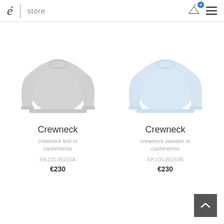é store
[Figure (photo): Gray crewneck knit sweater product photo on white background]
Crewneck
crewneck knit in cashmerino
RK100-BG50A
€230
[Figure (photo): Light blue crewneck sweater product photo on white background]
Crewneck
crewneck sweater in cashmerino
RK100-BG50B
€230